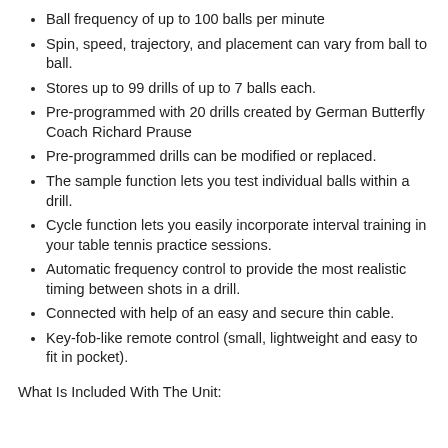Ball frequency of up to 100 balls per minute
Spin, speed, trajectory, and placement can vary from ball to ball.
Stores up to 99 drills of up to 7 balls each.
Pre-programmed with 20 drills created by German Butterfly Coach Richard Prause
Pre-programmed drills can be modified or replaced.
The sample function lets you test individual balls within a drill.
Cycle function lets you easily incorporate interval training in your table tennis practice sessions.
Automatic frequency control to provide the most realistic timing between shots in a drill.
Connected with help of an easy and secure thin cable.
Key-fob-like remote control (small, lightweight and easy to fit in pocket).
What Is Included With The Unit: